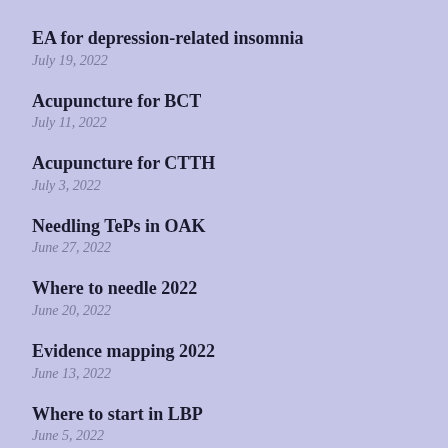EA for depression-related insomnia
July 19, 2022
Acupuncture for BCT
July 11, 2022
Acupuncture for CTTH
July 3, 2022
Needling TePs in OAK
June 27, 2022
Where to needle 2022
June 20, 2022
Evidence mapping 2022
June 13, 2022
Where to start in LBP
June 5, 2022